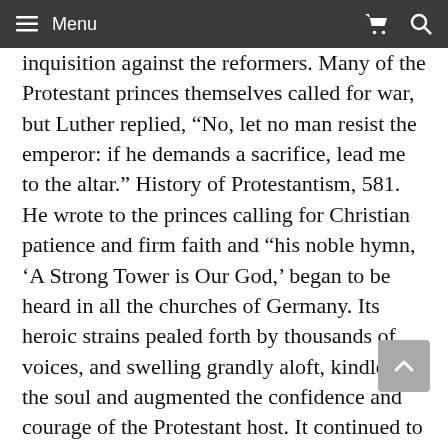Menu
inquisition against the reformers. Many of the Protestant princes themselves called for war, but Luther replied, “No, let no man resist the emperor: if he demands a sacrifice, lead me to the altar.” History of Protestantism, 581. He wrote to the princes calling for Christian patience and firm faith and “his noble hymn, ‘A Strong Tower is Our God,’ began to be heard in all the churches of Germany. Its heroic strains pealed forth by thousands of voices, and swelling grandly aloft, kindled the soul and augmented the confidence and courage of the Protestant host. It continued to be sung in the public assemblies during all the time the Diet was in session.” Ibid., 581, 582.
In early April, the Protestant princes and the